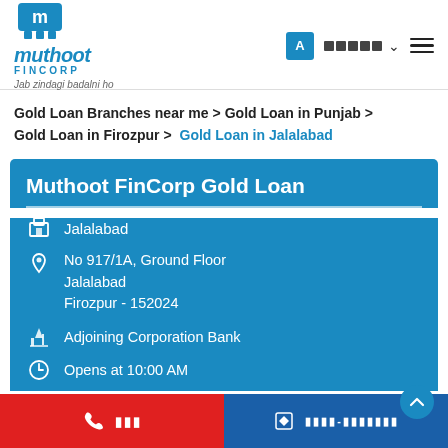[Figure (logo): Muthoot Fincorp logo with tagline 'Jab zindagi badalni ho']
Gold Loan Branches near me > Gold Loan in Punjab > Gold Loan in Firozpur > Gold Loan in Jalalabad
Muthoot FinCorp Gold Loan
Jalalabad
No 917/1A, Ground Floor
Jalalabad
Firozpur - 152024
Adjoining Corporation Bank
Opens at 10:00 AM
Call | Get Directions